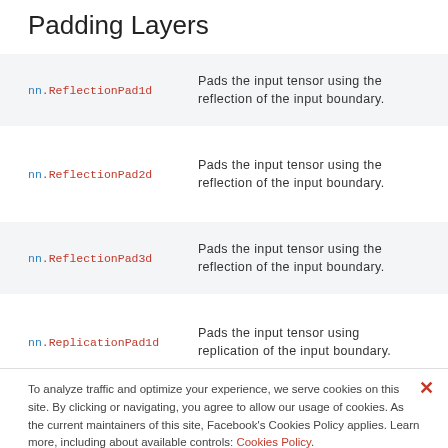Padding Layers
nn.ReflectionPad1d — Pads the input tensor using the reflection of the input boundary.
nn.ReflectionPad2d — Pads the input tensor using the reflection of the input boundary.
nn.ReflectionPad3d — Pads the input tensor using the reflection of the input boundary.
nn.ReplicationPad1d — Pads the input tensor using replication of the input boundary.
nn.ReplicationPad2d — Pads the input tensor using
To analyze traffic and optimize your experience, we serve cookies on this site. By clicking or navigating, you agree to allow our usage of cookies. As the current maintainers of this site, Facebook's Cookies Policy applies. Learn more, including about available controls: Cookies Policy.